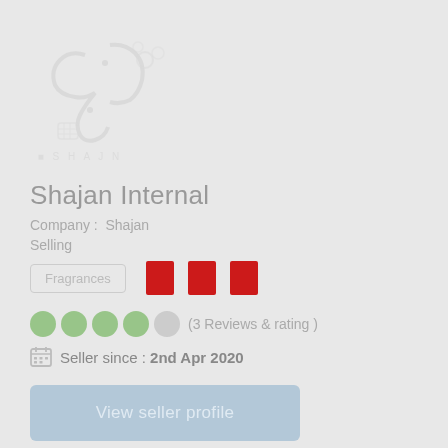[Figure (logo): Shajan brand logo with Arabic calligraphy and 'SHAJN' text, shown faded/greyed out]
Shajan Internal
Company : Shajan
Selling
Fragrances
(3 Reviews & rating )
Seller since : 2nd Apr 2020
View seller profile